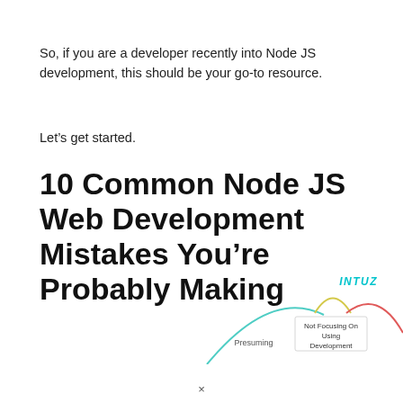So, if you are a developer recently into Node JS development, this should be your go-to resource.
Let's get started.
10 Common Node JS Web Development Mistakes You're Probably Making
[Figure (infographic): Partial mind-map or fan diagram showing labels 'Presuming' and 'Not Focusing On Using Development' as curved segments with colored arcs (teal, yellow, red)]
×